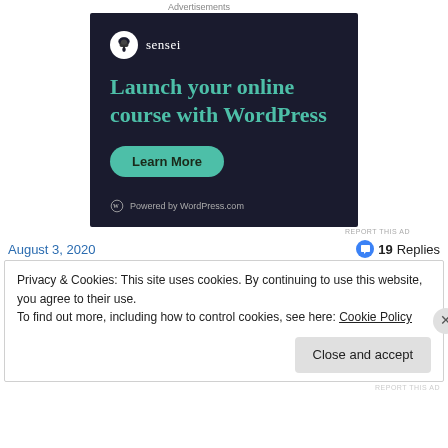Advertisements
[Figure (illustration): Sensei advertisement on dark navy background. Shows Sensei logo (bonsai tree in white circle) and brand name, headline 'Launch your online course with WordPress' in teal, a green 'Learn More' button, and 'Powered by WordPress.com' footer.]
REPORT THIS AD
August 3, 2020
19 Replies
Privacy & Cookies: This site uses cookies. By continuing to use this website, you agree to their use.
To find out more, including how to control cookies, see here: Cookie Policy
Close and accept